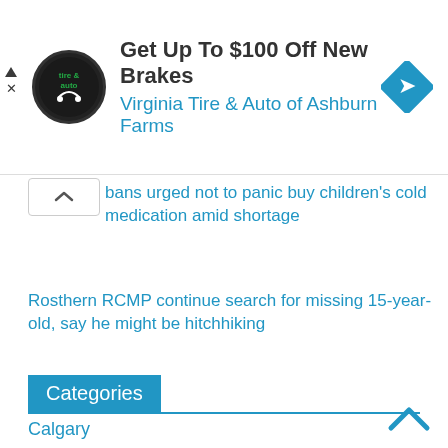[Figure (logo): Virginia Tire & Auto circular logo with text 'tire & auto' and handshake graphic]
Get Up To $100 Off New Brakes
Virginia Tire & Auto of Ashburn Farms
Saskàtobans urged not to panic buy children’s cold medication amid shortage
Rosthern RCMP continue search for missing 15-year-old, say he might be hitchhiking
Categories
Calgary
Edmonton
Ottawa
Regina